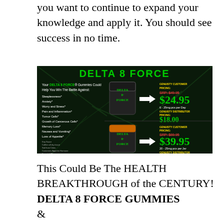you want to continue to expand your knowledge and apply it. You should see success in no time.
[Figure (screenshot): Delta 8 Force product advertisement showing gummy jars with pricing: $24.95 (6-25mg pcs per Day, SRP $49.95) and $39.95 (20-25mg pcs per Jar, SRP $69.95), with list of conditions it may help with including Sleeplessness, Anxiety, Worry and Stress, Pain and Inflammation, Tumor Cells, Growth of Cancerous Cells, Memory Loss, Nausea and Vomiting, Loss of Appetite.]
This Could Be The HEALTH BREAKTHROUGH of the CENTURY!
DELTA 8 FORCE GUMMIES
&
GenSilver Organic Wild-Crafted Irish Sea Moss